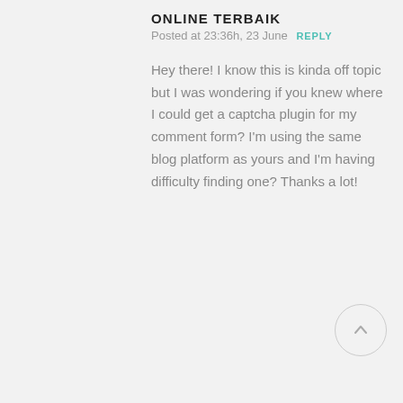ONLINE TERBAIK
Posted at 23:36h, 23 June  REPLY
Hey there! I know this is kinda off topic but I was wondering if you knew where I could get a captcha plugin for my comment form? I'm using the same blog platform as yours and I'm having difficulty finding one? Thanks a lot!